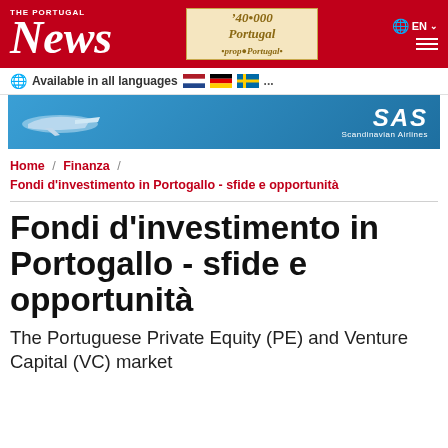The Portugal News
[Figure (other): Advertisement banner for property in Portugal with cursive text and gold/cream styling]
[Figure (other): SAS Scandinavian Airlines advertisement banner showing airplane and logo]
Available in all languages [flags] ...
Home / Finanza / Fondi d'investimento in Portogallo - sfide e opportunità
Fondi d'investimento in Portogallo - sfide e opportunità
The Portuguese Private Equity (PE) and Venture Capital (VC) market